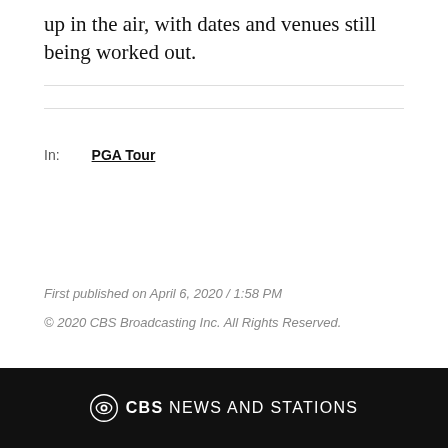up in the air, with dates and venues still being worked out.
In: PGA Tour
First published on April 6, 2020 / 1:58 PM
© 2020 CBS Broadcasting Inc. All Rights Reserved.
CBS NEWS AND STATIONS